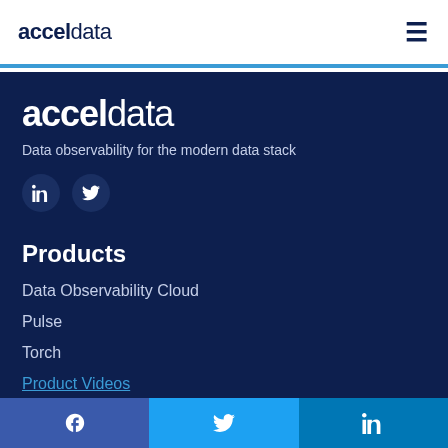acceldata
[Figure (logo): acceldata logo in dark navy, bold accel + light data text, with hamburger menu icon]
acceldata
Data observability for the modern data stack
[Figure (illustration): LinkedIn and Twitter social media icon buttons (circular dark blue buttons)]
Products
Data Observability Cloud
Pulse
Torch
Product Videos
[Figure (illustration): Bottom social share bar with Facebook, Twitter, and LinkedIn icons]